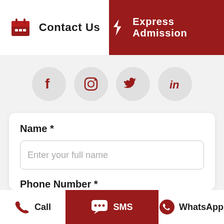[Figure (screenshot): Top navigation bar with Contact Us (left, white) and Express Admission (right, dark red) sections with icons]
[Figure (screenshot): Social media icons row: Facebook, Instagram, Twitter, LinkedIn — each in a light grey circle]
Name *
Enter your full name
Phone Number *
[Figure (screenshot): Bottom action bar with Call (left), SMS (center, dark red), and WhatsApp (right) buttons with icons]